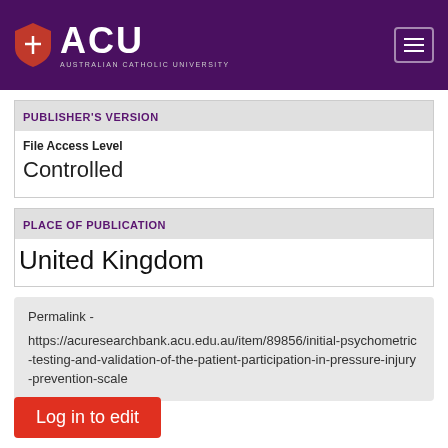ACU AUSTRALIAN CATHOLIC UNIVERSITY
PUBLISHER'S VERSION
File Access Level
Controlled
PLACE OF PUBLICATION
United Kingdom
Permalink -
https://acuresearchbank.acu.edu.au/item/89856/initial-psychometric-testing-and-validation-of-the-patient-participation-in-pressure-injury-prevention-scale
Log in to edit